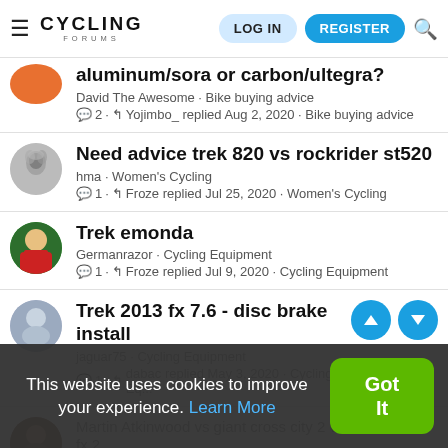Cycling Forums — LOG IN  REGISTER
aluminum/sora or carbon/ultegra?
David The Awesome · Bike buying advice
2 · Yojimbo_ replied Aug 2, 2020 · Bike buying advice
Need advice trek 820 vs rockrider st520
hma · Women's Cycling
1 · Froze replied Jul 25, 2020 · Women's Cycling
Trek emonda
Germanrazor · Cycling Equipment
1 · Froze replied Jul 9, 2020 · Cycling Equipment
Trek 2013 fx 7.6 - disc brake install
jaguar75 · Cycling Equipment
1 · dabac replied May 3, 2020 · Cycling Equipment
Martin Atkinwood vs giant cross city 2 vs trek fx 2
This website uses cookies to improve your experience. Learn More  Got It